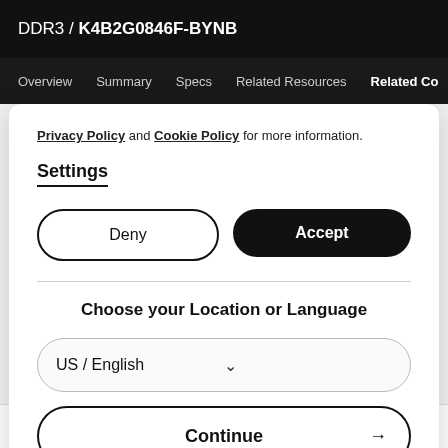DDR3 / K4B2G0846F-BYNB
Overview  Summary  Specs  Related Resources  Related Co
Privacy Policy and Cookie Policy for more information.
Settings
Deny
Accept
Choose your Location or Language
US / English
Continue
Products